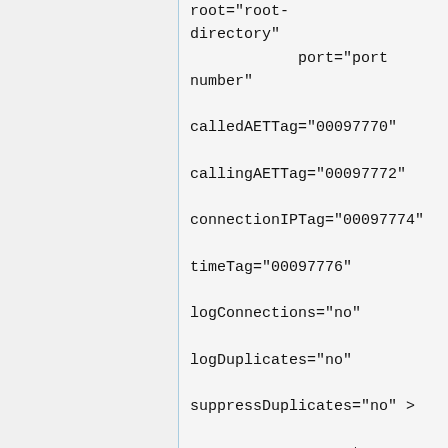root="root-directory"
                port="port number"

            calledAETTag="00097770"

            callingAETTag="00097772"

            connectionIPTag="00097774"

            timeTag="00097776"

            logConnections="no"

            logDuplicates="no"

            suppressDuplicates="no" >

                <accept ip="..."/>
                <reject ip="..."/>

                <accept